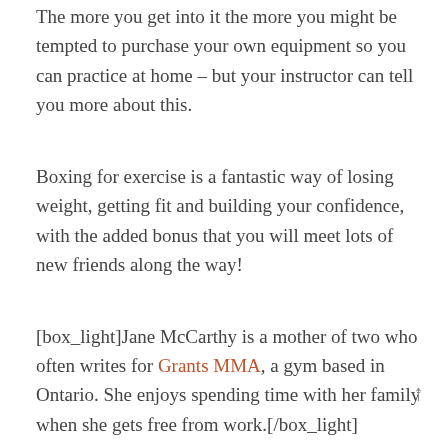The more you get into it the more you might be tempted to purchase your own equipment so you can practice at home – but your instructor can tell you more about this.
Boxing for exercise is a fantastic way of losing weight, getting fit and building your confidence, with the added bonus that you will meet lots of new friends along the way!
[box_light]Jane McCarthy is a mother of two who often writes for Grants MMA, a gym based in Ontario. She enjoys spending time with her family when she gets free from work.[/box_light]